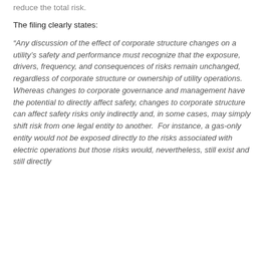reduce the total risk.
The filing clearly states:
“Any discussion of the effect of corporate structure changes on a utility’s safety and performance must recognize that the exposure, drivers, frequency, and consequences of risks remain unchanged, regardless of corporate structure or ownership of utility operations.  Whereas changes to corporate governance and management have the potential to directly affect safety, changes to corporate structure can affect safety risks only indirectly and, in some cases, may simply shift risk from one legal entity to another.  For instance, a gas-only entity would not be exposed directly to the risks associated with electric operations but those risks would, nevertheless, still exist and still directly